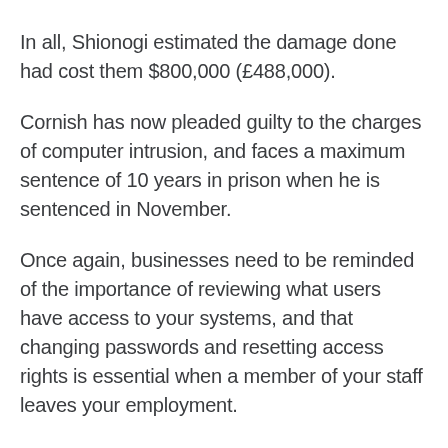In all, Shionogi estimated the damage done had cost them $800,000 (£488,000).
Cornish has now pleaded guilty to the charges of computer intrusion, and faces a maximum sentence of 10 years in prison when he is sentenced in November.
Once again, businesses need to be reminded of the importance of reviewing what users have access to your systems, and that changing passwords and resetting access rights is essential when a member of your staff leaves your employment.
People do, of course, leave jobs all the time and most of them would never dream of logging back in to their old place of work. But it only takes one bad apple to wreak havoc – so make sure your defences are in